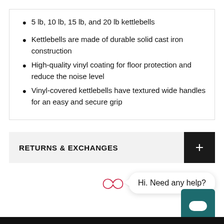5 lb, 10 lb, 15 lb, and 20 lb kettlebells
Kettlebells are made of durable solid cast iron construction
High-quality vinyl coating for floor protection and reduce the noise level
Vinyl-covered kettlebells have textured wide handles for an easy and secure grip
RETURNS & EXCHANGES
[Figure (other): Chat widget with infinity logo in red and a speech bubble saying 'Hi. Need any help?' and a teal chat button]